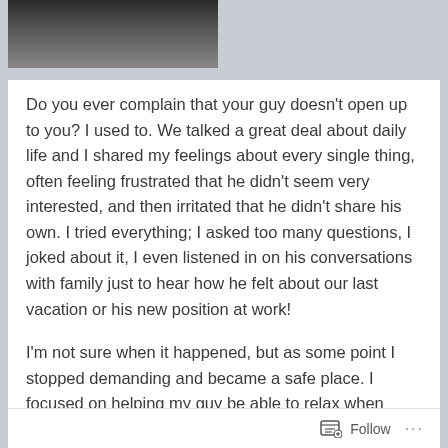[Figure (photo): Partial photo showing a person, cropped at top of page, dark tones]
Do you ever complain that your guy doesn't open up to you? I used to. We talked a great deal about daily life and I shared my feelings about every single thing, often feeling frustrated that he didn't seem very interested, and then irritated that he didn't share his own. I tried everything; I asked too many questions, I joked about it, I even listened in on his conversations with family just to hear how he felt about our last vacation or his new position at work!
I'm not sure when it happened, but as some point I stopped demanding and became a safe place. I focused on helping my guy be able to relax when
Follow ...